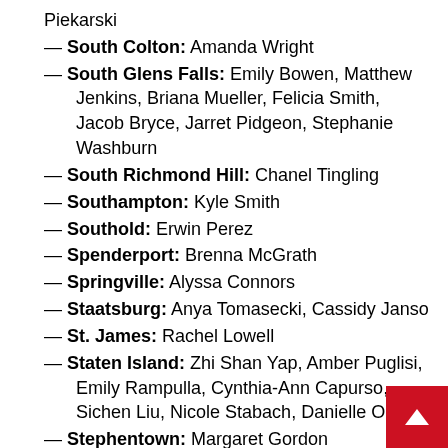Piekarski
— South Colton: Amanda Wright
— South Glens Falls: Emily Bowen, Matthew Jenkins, Briana Mueller, Felicia Smith, Jacob Bryce, Jarret Pidgeon, Stephanie Washburn
— South Richmond Hill: Chanel Tingling
— Southampton: Kyle Smith
— Southold: Erwin Perez
— Spenderport: Brenna McGrath
— Springville: Alyssa Connors
— Staatsburg: Anya Tomasecki, Cassidy Janso
— St. James: Rachel Lowell
— Staten Island: Zhi Shan Yap, Amber Puglisi, Emily Rampulla, Cynthia-Ann Capurso, Sichen Liu, Nicole Stabach, Danielle O'Gara
— Stephentown: Margaret Gordon
— Stillwater: Jayme Benoit
— Stony Point: Christina Record, Brianne Reilly, Angela Roppolo, Karl Felter